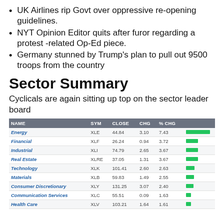UK Airlines rip Govt over oppressive re-opening guidelines.
NYT Opinion Editor quits after furor regarding a protest -related Op-Ed piece.
Germany stunned by Trump's plan to pull out 9500 troops from the country
Sector Summary
Cyclicals are again sitting up top on the sector leader board
| NAME | SYM | CLOSE | CHG | % CHG |  |
| --- | --- | --- | --- | --- | --- |
| Energy | XLE | 44.84 | 3.10 | 7.43 |  |
| Financial | XLF | 26.24 | 0.94 | 3.72 |  |
| Industrial | XLI | 74.79 | 2.65 | 3.67 |  |
| Real Estate | XLRE | 37.05 | 1.31 | 3.67 |  |
| Technology | XLK | 101.41 | 2.60 | 2.63 |  |
| Materials | XLB | 59.83 | 1.49 | 2.55 |  |
| Consumer Discretionary | XLY | 131.25 | 3.07 | 2.40 |  |
| Communication Services | XLC | 55.51 | 0.09 | 1.63 |  |
| Health Care | XLV | 103.21 | 1.64 | 1.61 |  |